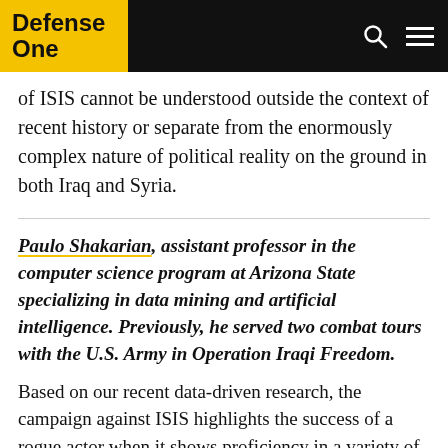Defense One
of ISIS cannot be understood outside the context of recent history or separate from the enormously complex nature of political reality on the ground in both Iraq and Syria.
Paulo Shakarian, assistant professor in the computer science program at Arizona State specializing in data mining and artificial intelligence. Previously, he served two combat tours with the U.S. Army in Operation Iraqi Freedom.
Based on our recent data-driven research, the campaign against ISIS highlights the success of a rogue actor when it shows proficiency in a variety of tactics (in the case of ISIS switching among